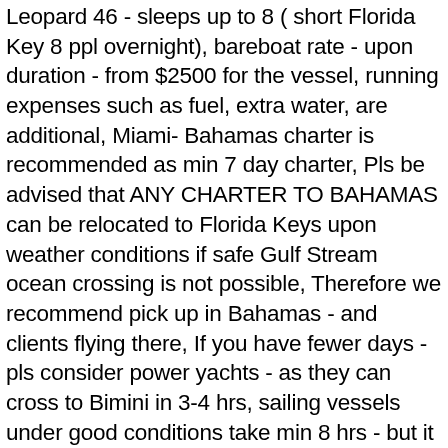Leopard 46 - sleeps up to 8 ( short Florida Key 8 ppl overnight), bareboat rate - upon duration - from $2500 for the vessel, running expenses such as fuel, extra water, are additional, Miami- Bahamas charter is recommended as min 7 day charter, Pls be advised that ANY CHARTER TO BAHAMAS can be relocated to Florida Keys upon weather conditions if safe Gulf Stream ocean crossing is not possible, Therefore we recommend pick up in Bahamas - and clients flying there, If you have fewer days - pls consider power yachts - as they can cross to Bimini in 3-4 hrs, sailing vessels under good conditions take min 8 hrs - but it can take more. Taste the private destination life on ... 1 Day cruise, leaves Fort Lauderdale Port Everglades, rates starting at $73 plus tax per person, for details please call 954-969-0069 To travel to the Bahamas you will need a valid passport and a re-entry VISA if applicable. Apart from Floridians, many anglers from the Carolinas trailer their vessels all the way to Florida, then hit the water. Co